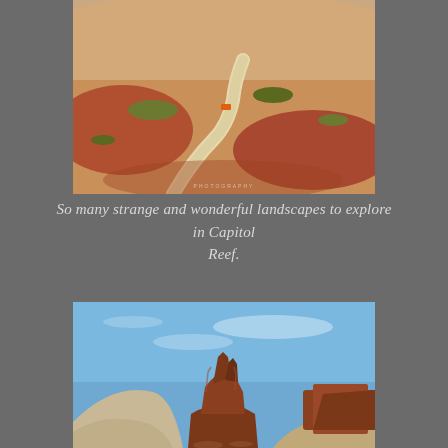[Figure (photo): Aerial or elevated view of a reddish desert landscape in Capitol Reef with a winding dirt path and sparse greenery, small orange vehicle visible on the path. Watermark text partially visible.]
So many strange and wonderful landscapes to explore in Capitol Reef.
[Figure (photo): A tall red rock spire/butte formation rising above sandy desert hills against a blue sky with light clouds, characteristic of Capitol Reef National Park area.]